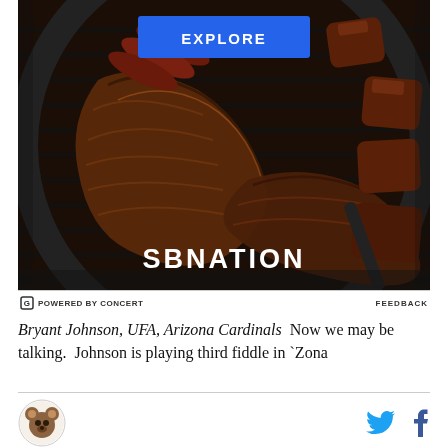[Figure (photo): Overhead photo of a charcoal grill loaded with BBQ ribs, sausages, and other grilled meats. A blue 'EXPLORE' button overlays the top center. The SBNation logo appears in white text at the bottom center of the image.]
POWERED BY CONCERT   FEEDBACK
Bryant Johnson, UFA, Arizona Cardinals  Now we may be talking.  Johnson is playing third fiddle in `Zona